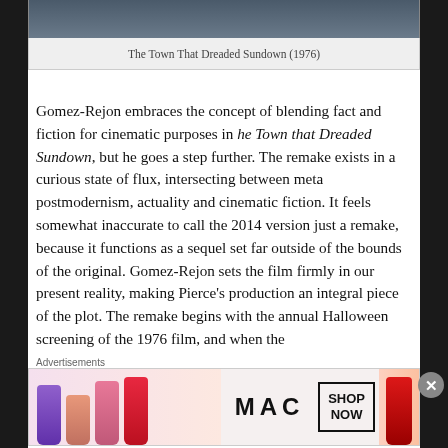[Figure (photo): Top portion of a film still from The Town That Dreaded Sundown (1976), partially visible at top of page]
The Town That Dreaded Sundown (1976)
Gomez-Rejon embraces the concept of blending fact and fiction for cinematic purposes in he Town that Dreaded Sundown, but he goes a step further. The remake exists in a curious state of flux, intersecting between meta postmodernism, actuality and cinematic fiction. It feels somewhat inaccurate to call the 2014 version just a remake, because it functions as a sequel set far outside of the bounds of the original. Gomez-Rejon sets the film firmly in our present reality, making Pierce’s production an integral piece of the plot. The remake begins with the annual Halloween screening of the 1976 film, and when the
Advertisements
[Figure (photo): MAC Cosmetics advertisement showing colorful lipstick tubes with Shop Now button]